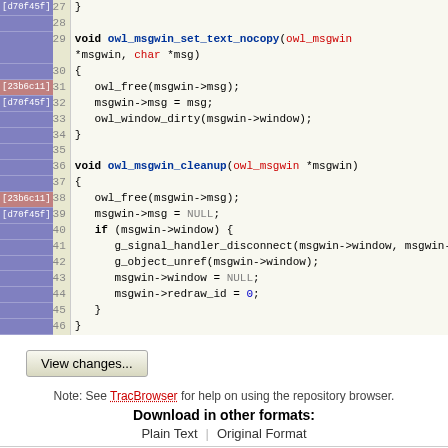[Figure (screenshot): Code viewer showing C source code lines 27-46 with annotation columns for git blame [d70f45f] and [23b6c11], line numbers, and syntax-highlighted code.]
View changes...
Note: See TracBrowser for help on using the repository browser.
Download in other formats:
Plain Text | Original Format
Powered by Trac 1.0.2 By Edgewall Software. The photo in the BarnOwl logo is from Steve Brace on Flickr and used under CC-BY